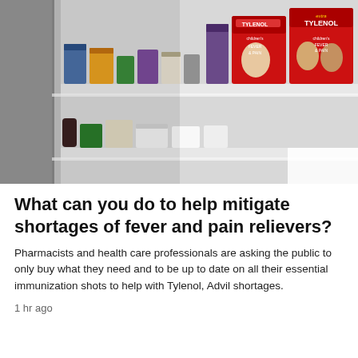[Figure (photo): Pharmacy shelf with Tylenol fever and pain relief medicine boxes, including children's Tylenol products in red packaging, alongside other medicine boxes on white shelves.]
What can you do to help mitigate shortages of fever and pain relievers?
Pharmacists and health care professionals are asking the public to only buy what they need and to be up to date on all their essential immunization shots to help with Tylenol, Advil shortages.
1 hr ago